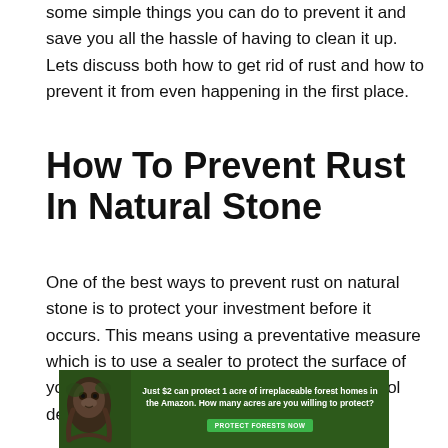some simple things you can do to prevent it and save you all the hassle of having to clean it up. Lets discuss both how to get rid of rust and how to prevent it from even happening in the first place.
How To Prevent Rust In Natural Stone
One of the best ways to prevent rust on natural stone is to protect your investment before it occurs. This means using a preventative measure which is to use a sealer to protect the surface of your natural stone in your outdoor kitchen, pool deck, or outdoor living space.
[Figure (other): Advertisement banner with dark green background showing a sloth on the left side and text: 'Just $2 can protect 1 acre of irreplaceable forest homes in the Amazon. How many acres are you willing to protect?' with a green 'PROTECT FORESTS NOW' button.]